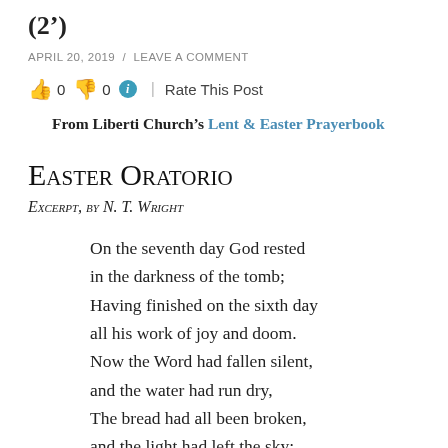(2’)
APRIL 20, 2019  /  LEAVE A COMMENT
👍 0 👎 0 ⓘ | Rate This Post
From Liberti Church’s Lent & Easter Prayerbook
Easter Oratorio
Excerpt, by N. T. Wright
On the seventh day God rested
in the darkness of the tomb;
Having finished on the sixth day
all his work of joy and doom.
Now the Word had fallen silent,
and the water had run dry,
The bread had all been broken,
and the light had left the sky;